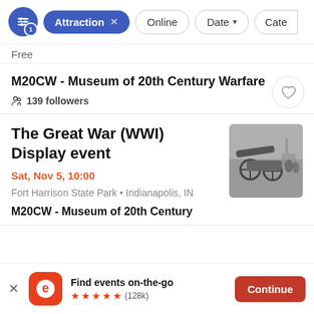[Figure (screenshot): Filter bar with icon button, active Attraction filter pill, Online pill, Date dropdown pill, and partial Cate pill]
Free
M20CW - Museum of 20th Century Warfare
139 followers
The Great War (WWI) Display event
Sat, Nov 5, 10:00
Fort Harrison State Park • Indianapolis, IN
M20CW - Museum of 20th Century
[Figure (photo): Black and white historical WWI artillery/cannon photograph]
Find events on-the-go ★★★★★ (128k)